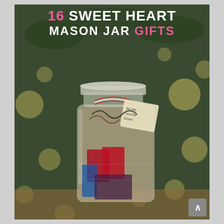[Figure (photo): A glass mason jar filled with various small items (chocolates, candies, gift cards, snacks), tied with red and white baker's twine and a gift tag reading 'Be My Favorite Driver', photographed against a bokeh background of warm fairy lights and greenery.]
16 SWEET HEART MASON JAR GIFTS